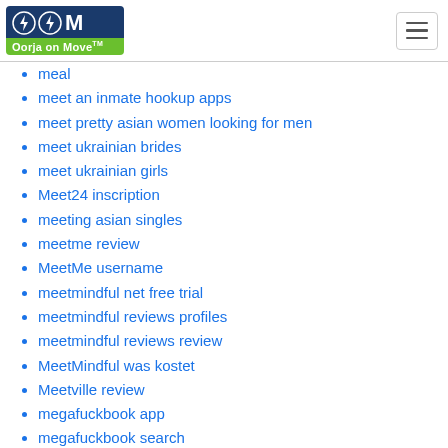Oorja on Move
meal
meet an inmate hookup apps
meet pretty asian women looking for men
meet ukrainian brides
meet ukrainian girls
Meet24 inscription
meeting asian singles
meetme review
MeetMe username
meetmindful net free trial
meetmindful reviews profiles
meetmindful reviews review
MeetMindful was kostet
Meetville review
megafuckbook app
megafuckbook search